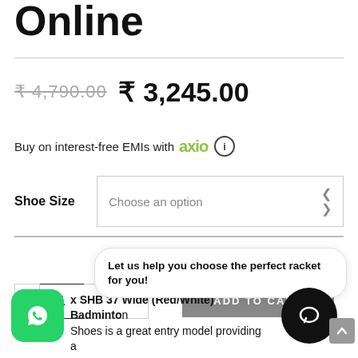Online
₹ 4,790.00  ₹ 3,245.00
Buy on interest-free EMIs with axio ⓘ
Shoe Size   Choose an option
Let us help you choose the perfect racket for you!
- 1  ADD TO CART
x SHB 37 Wide (Red/White) Badminton Shoes is a great entry model providing a